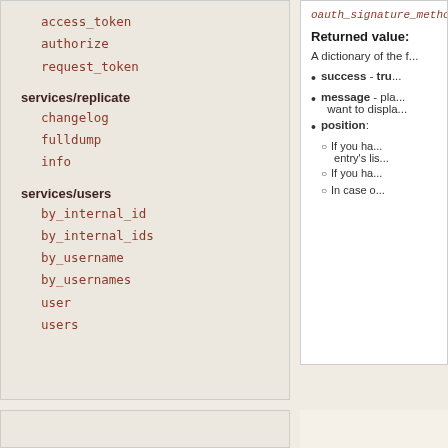access_token
authorize
request_token
services/replicate
changelog
fulldump
info
services/users
by_internal_id
by_internal_ids
by_username
by_usernames
user
users
oauth_signature_method...
Returned value:
A dictionary of the f...
success - true...
message - pla... want to display...
position:
If you ha... entry's lis...
If you ha...
In case o...